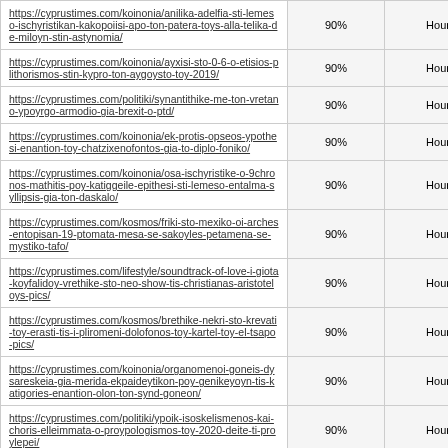| URL | Score | Frequency |
| --- | --- | --- |
| https://cyprustimes.com/koinonia/anilika-adelfia-sti-lemeso-ischyristikan-kakopoiisi-apo-ton-patera-toys-alla-telika-de-miloyn-stin-astynomia/ | 90% | Hourly |
| https://cyprustimes.com/koinonia/ayxisi-sto-0-6-o-etisios-plithorismos-stin-kypro-ton-aygoysto-toy-2019/ | 90% | Hourly |
| https://cyprustimes.com/politiki/synantithike-me-ton-vretano-ypoyrgo-armodio-gia-brexit-o-ptd/ | 90% | Hourly |
| https://cyprustimes.com/koinonia/ek-protis-opseos-ypothesi-enantion-toy-chatzixenofontos-gia-to-diplo-foniko/ | 90% | Hourly |
| https://cyprustimes.com/koinonia/osa-ischyristike-o-9chronos-mathitis-poy-katiggeile-epithesi-sti-lemeso-entalma-syllipsis-gia-ton-daskalo/ | 90% | Hourly |
| https://cyprustimes.com/kosmos/friki-sto-mexiko-oi-arches-entopisan-19-ptomata-mesa-se-sakoyles-petamena-se-mystiko-tafo/ | 90% | Hourly |
| https://cyprustimes.com/lifestyle/soundtrack-of-love-i-giota-koyfalidoy-vrethike-sto-neo-show-tis-christianas-aristoteloys-pics/ | 90% | Hourly |
| https://cyprustimes.com/kosmos/brethike-nekri-sto-krevati-toy-erasti-tis-i-pliromeni-dolofonos-toy-kartel-toy-el-tsapo-pics/ | 90% | Hourly |
| https://cyprustimes.com/koinonia/organomenoi-goneis-dysareskeia-gia-merida-ekpaideytikon-poy-genikeyoyn-tis-katigories-enantion-olon-ton-synd-goneon/ | 90% | Hourly |
| https://cyprustimes.com/politiki/ypoik-isoskelismenos-kai-choris-elleimmata-o-proypologismos-toy-2020-deite-ti-proylepei/ | 90% | Hourly |